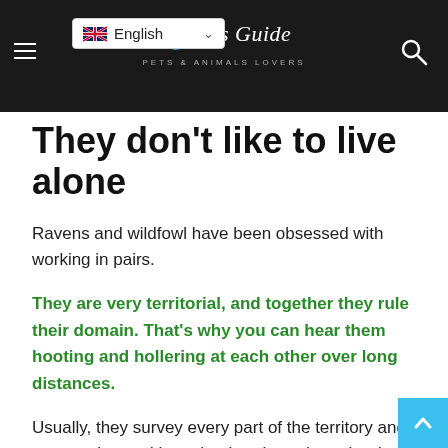English | [pets guide logo]
They don't like to live alone
Ravens and wildfowl have been obsessed with working in pairs.
They are very territorial, and together they rule their domain. That's why you can hear them hooting and hollering at each other over long distances.
Usually, they survey every part of the territory and communicate with each other throughout the day. They shout at each other when an enemy or threat arises. This could be